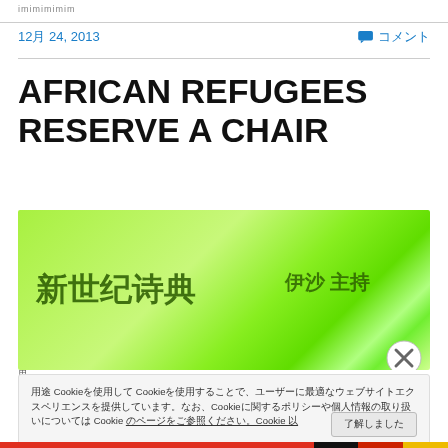imimimimim
12月 24, 2013
コメント
AFRICAN REFUGEES RESERVE A CHAIR
[Figure (illustration): Green banner image with Chinese characters '新世纪诗典' and '伊沙 主持' text on a bright green gradient background]
用途 Cookieを使用して Cookieを使用することで、ユーザーに最適なウェブサイトエクスペリエンスを提供しています。なお、Cookieに関するポリシーや個人情報の取り扱いについては Cookie のページをご参照ください。
了解しました